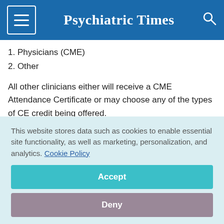Psychiatric Times
1. Physicians (CME)
2. Other
All other clinicians either will receive a CME Attendance Certificate or may choose any of the types of CE credit being offered.
This website stores data such as cookies to enable essential site functionality, as well as marketing, personalization, and analytics. Cookie Policy
Accept
Deny